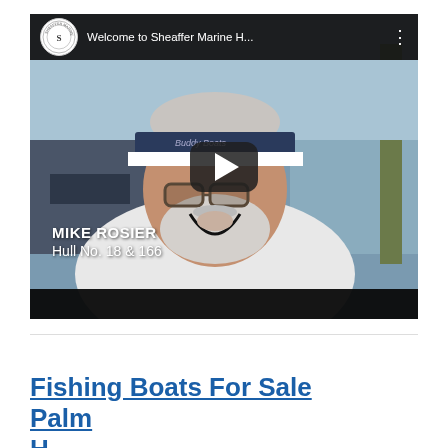[Figure (screenshot): YouTube video thumbnail for 'Welcome to Sheaffer Marine H...' showing an older man wearing a visor cap and glasses outdoors near a marina. A play button is overlaid in the center. Text overlay reads 'MIKE ROSIER Hull No. 18 & 166'. The video has a dark top bar with the channel logo and title, and a dark bottom bar.]
Fishing Boats For Sale Palm H...